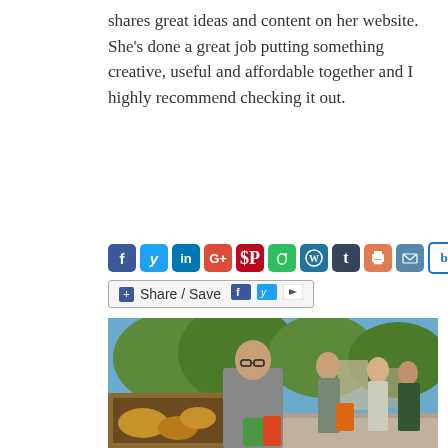shares great ideas and content on her website. She's done a great job putting something creative, useful and affordable together and I highly recommend checking it out.
[Figure (infographic): Social media sharing icons row: Facebook, Twitter, LinkedIn, Google+, Pinterest, Evernote, WordPress, Tumblr, Print, Email, Blogengage. Below: Share/Save button with Facebook and Twitter icons.]
[Figure (photo): Outdoor farmers market scene. A man in a grey blazer and glasses browses bread at a wooden stall. People queue behind him along a sunny tree-lined path. Buildings visible in background.]